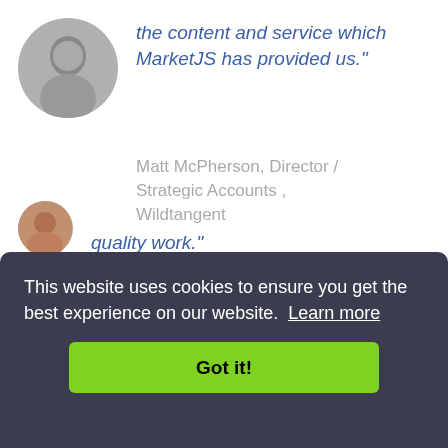the content and service which MarketJS has provided us."
Matt McPherson, Director / Strategic Accounts , Wildtangent
[Figure (photo): Circular avatar of a man in black and white]
"MarketJS provided excellent support and responded well to ad-hoc requests."
[Figure (photo): Circular avatar of a young man with glasses]
This website uses cookies to ensure you get the best experience on our website. Learn more
Got it!
quality work."